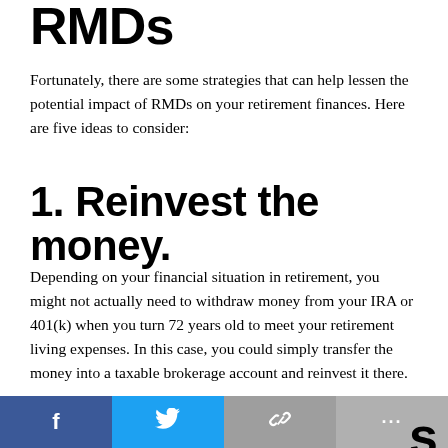RMDs
Fortunately, there are some strategies that can help lessen the potential impact of RMDs on your retirement finances. Here are five ideas to consider:
1. Reinvest the money.
Depending on your financial situation in retirement, you might not actually need to withdraw money from your IRA or 401(k) when you turn 72 years old to meet your retirement living expenses. In this case, you could simply transfer the money into a taxable brokerage account and reinvest it there.